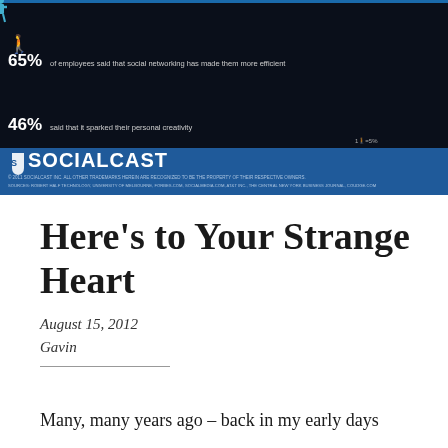[Figure (infographic): Socialcast infographic on dark blue/black background showing two rows of human figure icons. Top row: 65% blue figures, 35% green figures, with text '65% of employees said that social networking has made them more efficient'. Bottom row: 54% blue figures, 46% green figures, with text '46% said that it sparked their personal creativity'. Socialcast logo at bottom with small text sources.]
Here's to Your Strange Heart
August 15, 2012
Gavin
Many, many years ago – back in my early days